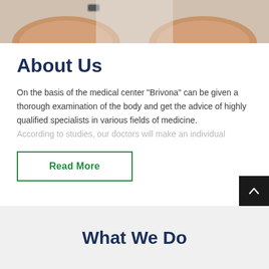[Figure (photo): Cropped photo showing two hands (forearms and hands) resting on a white surface, viewed from above.]
About Us
On the basis of the medical center “Brivona” can be given a thorough examination of the body and get the advice of highly qualified specialists in various fields of medicine. According to studies, our doctors will make an individual
Read More
What We Do